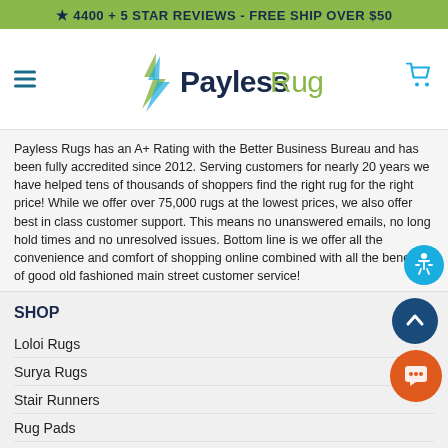★ 4400 + 5 STAR REVIEWS - FREE SHIP OVER $50
[Figure (logo): Payless Rugs logo with green lightning bolt symbol, 'Payless' in dark navy bold and 'Rugs' in green]
Payless Rugs has an A+ Rating with the Better Business Bureau and has been fully accredited since 2012. Serving customers for nearly 20 years we have helped tens of thousands of shoppers find the right rug for the right price! While we offer over 75,000 rugs at the lowest prices, we also offer best in class customer support. This means no unanswered emails, no long hold times and no unresolved issues. Bottom line is we offer all the convenience and comfort of shopping online combined with all the benefits of good old fashioned main street customer service!
SHOP
Loloi Rugs
Surya Rugs
Stair Runners
Rug Pads
View Brands